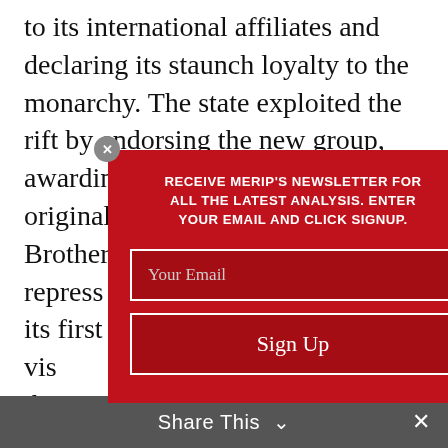to its international affiliates and declaring its staunch loyalty to the monarchy. The state exploited the rift by endorsing the new group, awarding it assets belonging to the original Society of Muslim Brothers, and moving to repress [obscured by modal] n its first vis[ible] the Hamas [obscured] nce of the Sau[di] [obscured] seemin[gly] [obscured] ew power [obscured] ian lines, th[e] [obscured] great lengths[...] ne emergi[ng] ber 15 announ[cement]
[Figure (screenshot): Red modal popup with newsletter signup form. Title reads: 'RECEIVE MERIP'S NEWSLETTER FOR ALL THE LATEST ANALYSIS. ENTER YOUR EMAIL AND CLICK SIGNUP.' Below is a 'Your Email' input field and a 'Sign Up' button, both with white borders on dark red background. A close button (x) appears in the top-left corner.]
Share This ∨